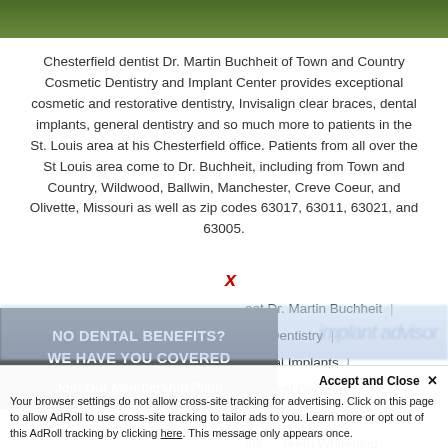[Figure (photo): Top green banner with outdoor/nature background]
Chesterfield dentist Dr. Martin Buchheit of Town and Country Cosmetic Dentistry and Implant Center provides exceptional cosmetic and restorative dentistry, Invisalign clear braces, dental implants, general dentistry and so much more to patients in the St. Louis area at his Chesterfield office. Patients from all over the St Louis area come to Dr. Buchheit, including from Town and Country, Wildwood, Ballwin, Manchester, Creve Coeur, and Olivette, Missouri as well as zip codes 63017, 63011, 63021, and 63005.
[Figure (other): Red X close button overlay]
eet Dr. Martin Buchheit
etic Dentistry
Dental Implants
General Dentistry
align Invisible Braces
als | Teeth Whitening
Forms | Contact Us
NO DENTAL BENEFITS?
WE HAVE YOU COVERED
Join Our Membership Plan!
Accept and Close ×
Your browser settings do not allow cross-site tracking for advertising. Click on this page to allow AdRoll to use cross-site tracking to tailor ads to you. Learn more or opt out of this AdRoll tracking by clicking here. This message only appears once.